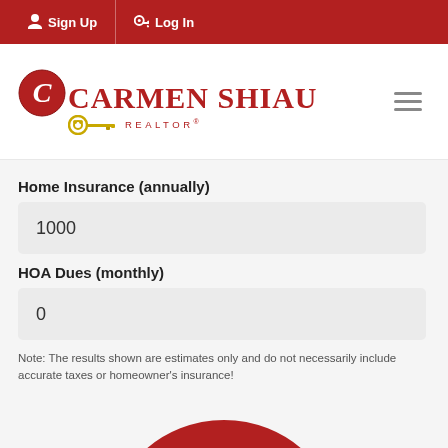Sign Up | Log In
[Figure (logo): Carmen Shiau Realtor logo with red circle C emblem, red text 'Carmen Shiau', gold key icon, and 'REALTOR' text]
Home Insurance (annually)
1000
HOA Dues (monthly)
0
Note: The results shown are estimates only and do not necessarily include accurate taxes or homeowner's insurance!
[Figure (donut-chart): Partial donut chart visible at bottom of page, red and light red/pink segments, showing mortgage cost breakdown]